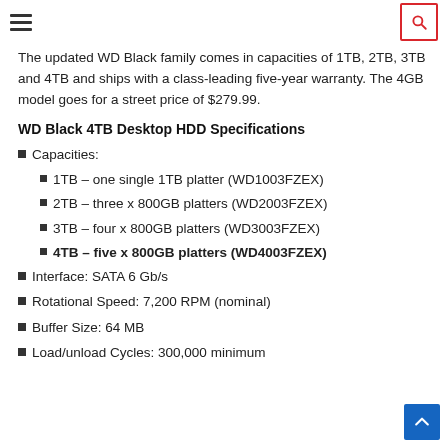[Hamburger menu icon] [Search icon]
The updated WD Black family comes in capacities of 1TB, 2TB, 3TB and 4TB and ships with a class-leading five-year warranty. The 4GB model goes for a street price of $279.99.
WD Black 4TB Desktop HDD Specifications
Capacities:
1TB – one single 1TB platter (WD1003FZEX)
2TB – three x 800GB platters (WD2003FZEX)
3TB – four x 800GB platters (WD3003FZEX)
4TB – five x 800GB platters (WD4003FZEX)
Interface: SATA 6 Gb/s
Rotational Speed: 7,200 RPM (nominal)
Buffer Size: 64 MB
Load/unload Cycles: 300,000 minimum